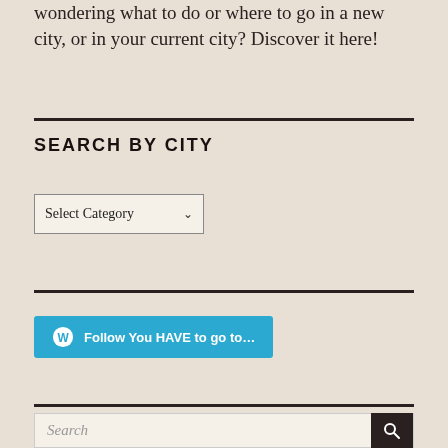wondering what to do or where to go in a new city, or in your current city? Discover it here!
SEARCH BY CITY
[Figure (screenshot): A dropdown select box labeled 'Select Category' with a downward arrow]
[Figure (screenshot): A cyan/blue WordPress follow button labeled 'Follow You HAVE to go to...' with WordPress logo icon]
[Figure (screenshot): A search bar with placeholder text 'Search' and a dark search button with magnifying glass icon on the right]